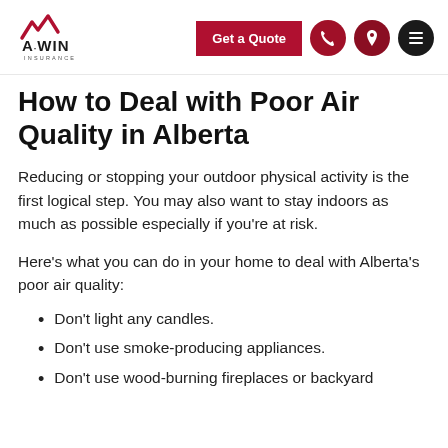A-WIN Insurance — Get a Quote
How to Deal with Poor Air Quality in Alberta
Reducing or stopping your outdoor physical activity is the first logical step. You may also want to stay indoors as much as possible especially if you're at risk.
Here's what you can do in your home to deal with Alberta's poor air quality:
Don't light any candles.
Don't use smoke-producing appliances.
Don't use wood-burning fireplaces or backyard